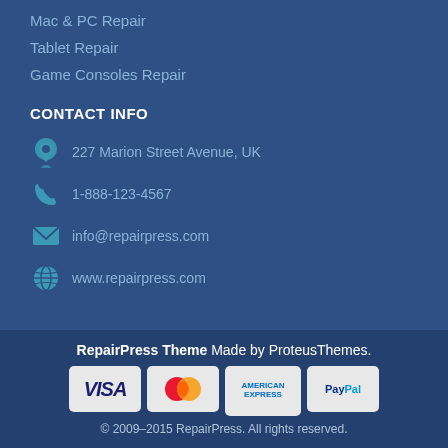Mac & PC Repair
Tablet Repair
Game Consoles Repair
CONTACT INFO
227 Marion Street Avenue, UK
1-888-123-4567
info@repairpress.com
www.repairpress.com
RepairPress Theme Made by ProteusThemes.
[Figure (other): Payment method logos: VISA, Mastercard, American Express, PayPal]
© 2009–2015 RepairPress. All rights reserved.